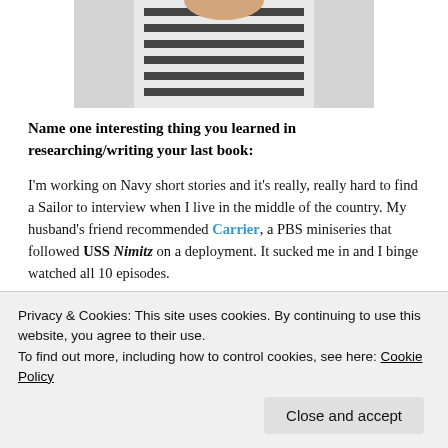[Figure (photo): Partial photo of a person wearing a black and white striped top, cropped at the top of the page]
Name one interesting thing you learned in researching/writing your last book:
I'm working on Navy short stories and it's really, really hard to find a Sailor to interview when I live in the middle of the country. My husband's friend recommended Carrier, a PBS miniseries that followed USS Nimitz on a deployment. It sucked me in and I binge watched all 10 episodes.
[Figure (photo): Partial photo of an American flag on a wooden surface, partially visible at the bottom of the page]
Privacy & Cookies: This site uses cookies. By continuing to use this website, you agree to their use.
To find out more, including how to control cookies, see here: Cookie Policy